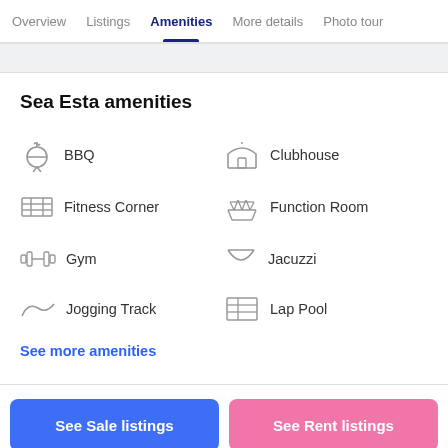Overview  Listings  Amenities  More details  Photo tour
Sea Esta amenities
BBQ
Clubhouse
Fitness Corner
Function Room
Gym
Jacuzzi
Jogging Track
Lap Pool
See more amenities
See Sale listings
See Rent listings
Neighborhood